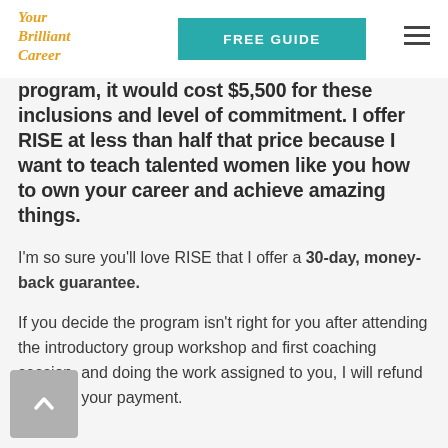[Figure (logo): Your Brilliant Career logo in orange italic script]
FREE GUIDE
program, it would cost $5,500 for these inclusions and level of commitment. I offer RISE at less than half that price because I want to teach talented women like you how to own your career and achieve amazing things.
I'm so sure you'll love RISE that I offer a 30-day, money-back guarantee.
If you decide the program isn't right for you after attending the introductory group workshop and first coaching session, and doing the work assigned to you, I will refund 100% of your payment.